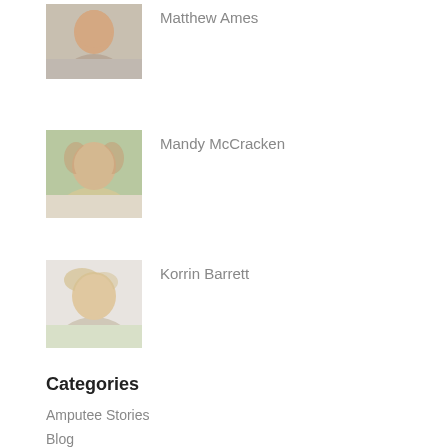[Figure (photo): Headshot of Matthew Ames, a middle-aged man]
Matthew Ames
[Figure (photo): Headshot of Mandy McCracken, a woman with curly hair]
Mandy McCracken
[Figure (photo): Headshot of Korrin Barrett, a blonde woman]
Korrin Barrett
Categories
Amputee Stories
Blog